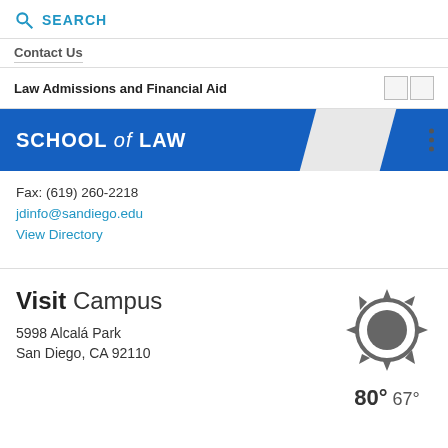SEARCH
Contact Us
Law Admissions and Financial Aid
[Figure (logo): University of San Diego School of Law blue banner logo with 'SCHOOL of LAW' text]
Fax: (619) 260-2218
jdinfo@sandiego.edu
View Directory
Visit Campus
5998 Alcalá Park
San Diego, CA 92110
[Figure (illustration): Sun weather icon with temperature 80° 67°]